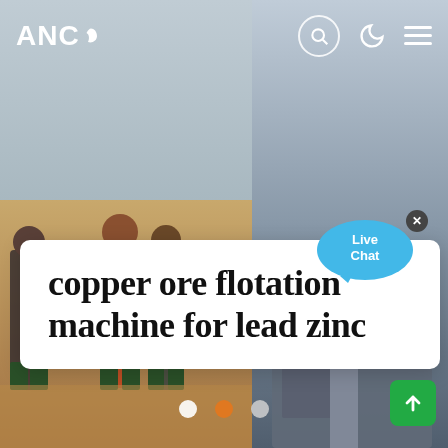[Figure (photo): Two-panel composite photo: left panel shows workers/people standing in a sandy/dusty outdoor industrial area with mining equipment; right panel shows industrial machinery (flotation machine) in gray/blue tones]
ANC [logo with leaf icon] — navigation header with search, dark mode, and menu icons
copper ore flotation machine for lead zinc
[Figure (other): Live Chat speech bubble widget in cyan/blue]
[Figure (other): Carousel navigation dots: white, orange (active), gray]
[Figure (other): Scroll-to-top green button with upward arrow]